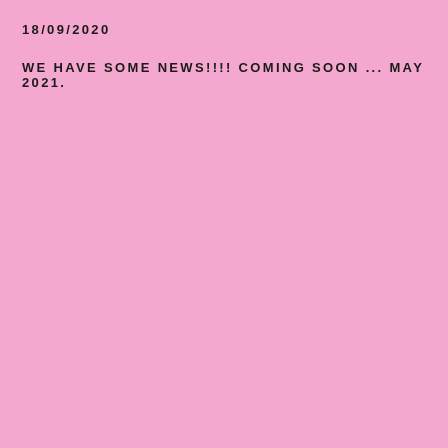18/09/2020
WE HAVE SOME NEWS!!!! COMING SOON ... MAY 2021.